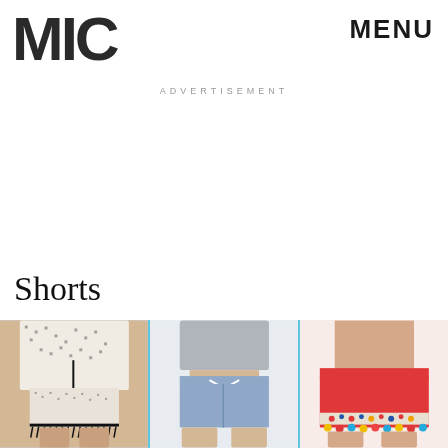MIC
MENU
ADVERTISEMENT
Shorts
[Figure (photo): Three women modeling shorts: left shows floral/patterned shorts with black fringe trim, middle shows blue chambray drawstring shorts, right shows red shorts with colorful embroidered pom-pom hem detail.]